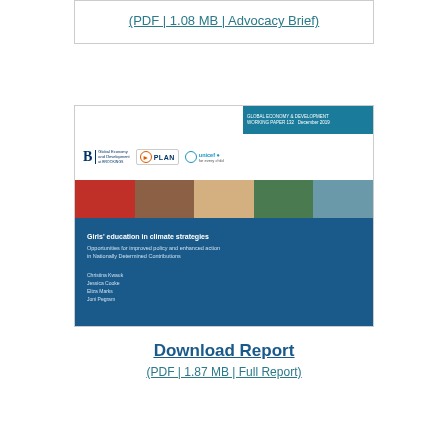(PDF | 1.08 MB | Advocacy Brief)
[Figure (other): Cover of report titled 'Girls' education in climate strategies: Opportunities for improved policy and enhanced action in Nationally Determined Contributions' by Christina Kwauk, Jessica Cooke, Eliza Marks, Joni Pegram. Published by Brookings Global Economy and Development, Plan International, and UNICEF.]
Download Report
(PDF | 1.87 MB | Full Report)